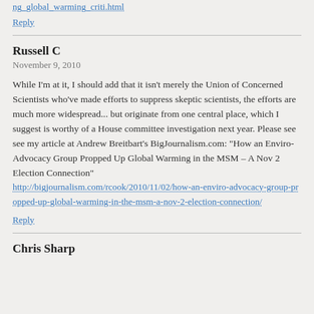ng_global_warming_criti.html
Reply
Russell C
November 9, 2010
While I'm at it, I should add that it isn't merely the Union of Concerned Scientists who've made efforts to suppress skeptic scientists, the efforts are much more widespread... but originate from one central place, which I suggest is worthy of a House committee investigation next year. Please see see my article at Andrew Breitbart's BigJournalism.com: "How an Enviro-Advocacy Group Propped Up Global Warming in the MSM – A Nov 2 Election Connection" http://bigjournalism.com/rcook/2010/11/02/how-an-enviro-advocacy-group-propped-up-global-warming-in-the-msm-a-nov-2-election-connection/
Reply
Chris Sharp